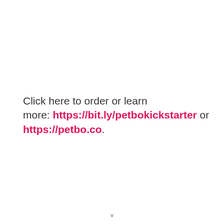Click here to order or learn more: https://bit.ly/petbokickstarter or https://petbo.co.
v